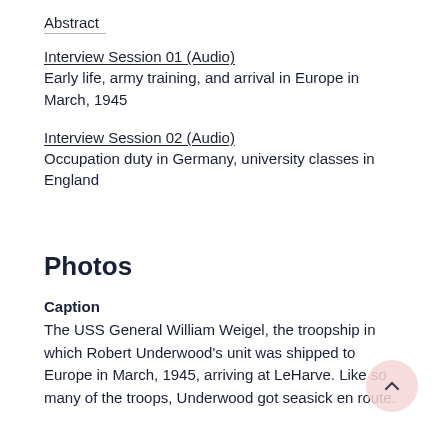Abstract
Interview Session 01 (Audio)
Early life, army training, and arrival in Europe in March, 1945
Interview Session 02 (Audio)
Occupation duty in Germany, university classes in England
Photos
Caption
The USS General William Weigel, the troopship in which Robert Underwood's unit was shipped to Europe in March, 1945, arriving at LeHarve. Like so many of the troops, Underwood got seasick en route.